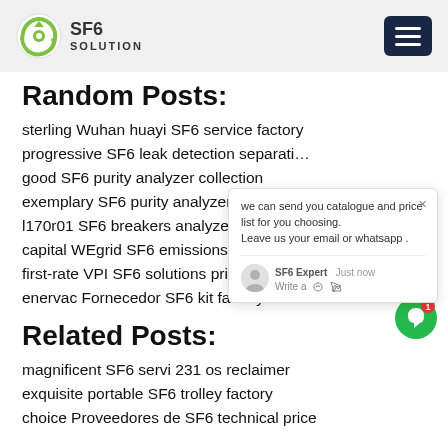SF6 SOLUTION
Random Posts:
sterling Wuhan huayi SF6 service factory
progressive SF6 leak detection separati…
good SF6 purity analyzer collection
exemplary SF6 purity analyzer vacuum r…
l170r01 SF6 breakers analyzer cost
capital WEgrid SF6 emissions
first-rate VPI SF6 solutions price
enervac Fornecedor SF6 kit factory
Related Posts:
magnificent SF6 servi 231 os reclaimer
exquisite portable SF6 trolley factory
choice Proveedores de SF6 technical price